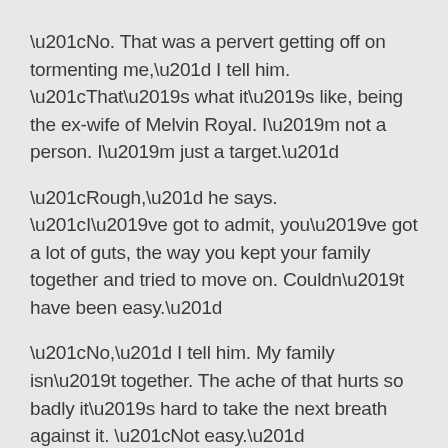“No. That was a pervert getting off on tormenting me,” I tell him. “That’s what it’s like, being the ex-wife of Melvin Royal. I’m not a person. I’m just a target.”
“Rough,” he says. “I’ve got to admit, you’ve got a lot of guts, the way you kept your family together and tried to move on. Couldn’t have been easy.”
“No,” I tell him. My family isn’t together. The ache of that hurts so badly it’s hard to take the next breath against it. “Not easy.”
“I’m a little surprised Prester let you keep that phone,” Graham says. “Usually they want to keep it, monitor the calls at the station. Must have some kind of trace on it, I suppose.”